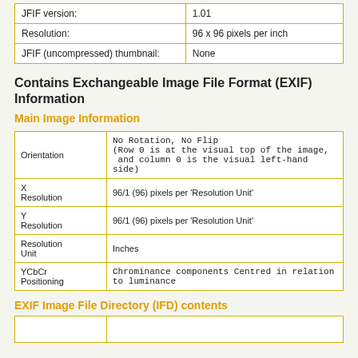| Field | Value |
| --- | --- |
| JFIF version: | 1.01 |
| Resolution: | 96 x 96 pixels per inch |
| JFIF (uncompressed) thumbnail: | None |
Contains Exchangeable Image File Format (EXIF) Information
Main Image Information
| Field | Value |
| --- | --- |
| Orientation | No Rotation, No Flip
(Row 0 is at the visual top of the image,
 and column 0 is the visual left-hand side) |
| X Resolution | 96/1 (96) pixels per 'Resolution Unit' |
| Y Resolution | 96/1 (96) pixels per 'Resolution Unit' |
| Resolution Unit | Inches |
| YCbCr Positioning | Chrominance components Centred in relation to luminance |
EXIF Image File Directory (IFD) contents
|  |